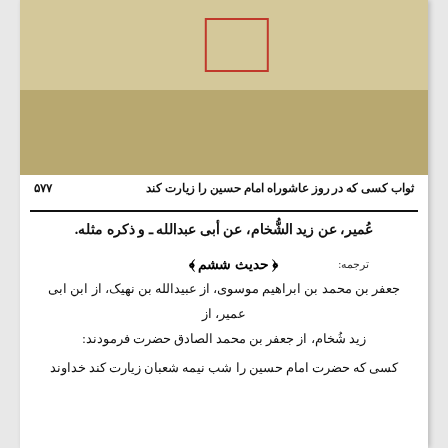[Figure (illustration): Decorative page header with beige and tan/brown background sections, and a red rectangular border box in the upper middle area]
ثواب کسی که در روز عاشوراه امام حسین علیه‌السلام را زیارت کند   ۵۷۷
عُمیر، عن زید الشُّخام، عن أبی عبدالله علیه‌السلام ـ و ذکره مثله.
﴿ حدیث ششم ﴾
ترجمه:
جعفر بن محمد بن ابراهیم موسوی، از عبیدالله بن نهیک، از ابن ابی عمیر، از زید شُخام، از جعفر بن محمد الصادق علیه‌السلام حضرت فرمودند:
کسی که حضرت امام حسین علیه‌السلام را شب نیمه شعبان زیارت کند خداوند